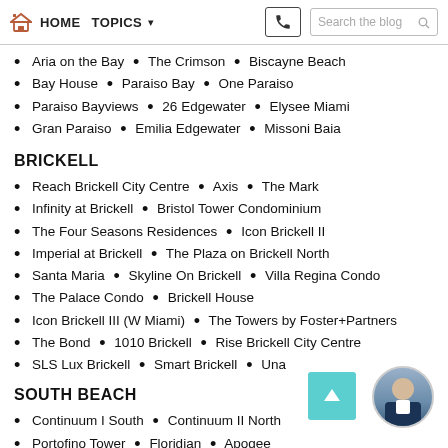HOME  TOPICS  [phone icon]  Search the blog
Aria on the Bay  •  The Crimson  •  Biscayne Beach
Bay House  •  Paraiso Bay  •  One Paraiso
Paraiso Bayviews  •  26 Edgewater  •  Elysee Miami
Gran Paraiso  •  Emilia Edgewater  •  Missoni Baia
BRICKELL
Reach Brickell City Centre  •  Axis  •  The Mark
Infinity at Brickell  •  Bristol Tower Condominium
The Four Seasons Residences  •  Icon Brickell II
Imperial at Brickell  •  The Plaza on Brickell North
Santa Maria  •  Skyline On Brickell  •  Villa Regina Condo
The Palace Condo  •  Brickell House
Icon Brickell III (W Miami)  •  The Towers by Foster+Partners
The Bond  •  1010 Brickell  •  Rise Brickell City Centre
SLS Lux Brickell  •  Smart Brickell  •  Una
SOUTH BEACH
Continuum I South  •  Continuum II North
Portofino Tower  •  Floridian  •  Apogee